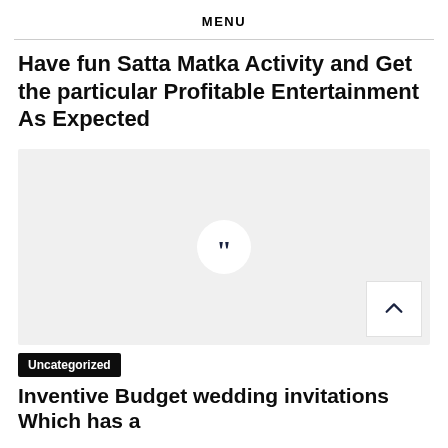MENU
Have fun Satta Matka Activity and Get the particular Profitable Entertainment As Expected
[Figure (illustration): Light gray placeholder image with a white circle containing dark blue quotation marks in the center. A white scroll-to-top button with an upward chevron arrow is in the bottom-right corner.]
Uncategorized
Inventive Budget wedding invitations Which has a